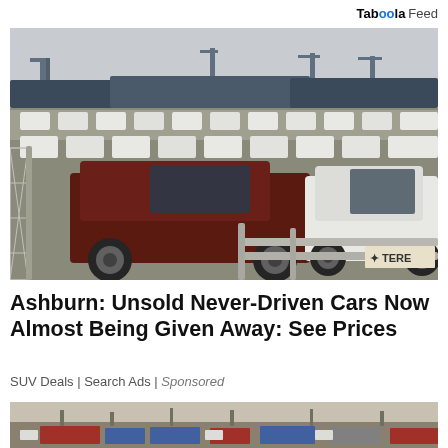Taboola Feed
[Figure (photo): Large outdoor lot packed with rows of SUVs (Toyota FJ Cruisers in dark red and white) at what appears to be a shipping port, with cranes and cargo ships visible in the background, and a chain-link fence in the foreground.]
Ashburn: Unsold Never-Driven Cars Now Almost Being Given Away: See Prices
SUV Deals | Search Ads | Sponsored
[Figure (photo): Partial view of another outdoor lot or industrial area, cropped at the bottom of the page.]